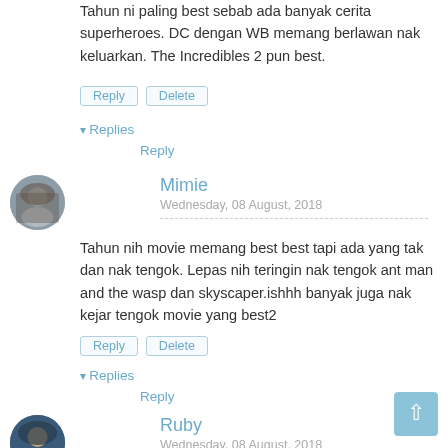Tahun ni paling best sebab ada banyak cerita superheroes. DC dengan WB memang berlawan nak keluarkan. The Incredibles 2 pun best.
Reply | Delete
▾ Replies
Reply
Mimie
Wednesday, 08 August, 2018
Tahun nih movie memang best best tapi ada yang tak dan nak tengok. Lepas nih teringin nak tengok ant man and the wasp dan skyscaper.ishhh banyak juga nak kejar tengok movie yang best2
Reply | Delete
▾ Replies
Reply
Ruby
Wednesday, 08 August, 2018
Tahun 2018 ni memang semua movie bestkan. Ruby setiap minggu tengok movie dengan anak-anak.